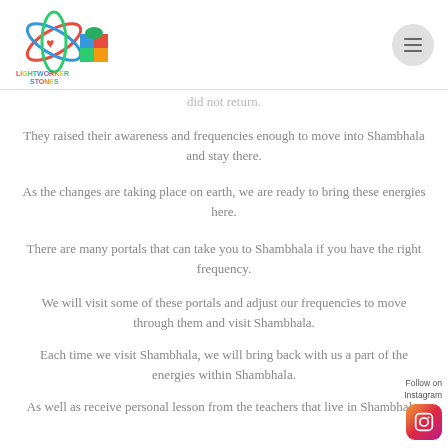[Figure (logo): Lightworker Stones colorful logo with atomic symbol and building blocks]
did not return.
They raised their awareness and frequencies enough to move into Shambhala and stay there.
As the changes are taking place on earth, we are ready to bring these energies here.
There are many portals that can take you to Shambhala if you have the right frequency.
We will visit some of these portals and adjust our frequencies to move through them and visit Shambhala.
Each time we visit Shambhala, we will bring back with us a part of the energies within Shambhala.
As well as receive personal lesson from the teachers that live in Shambhala.